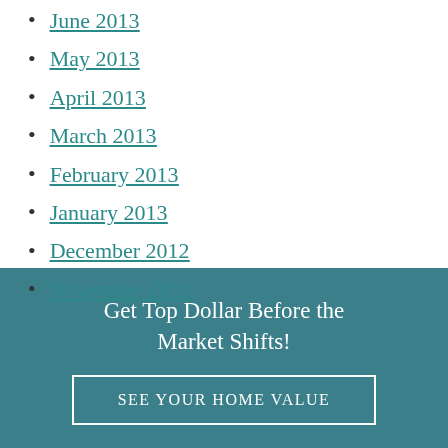June 2013
May 2013
April 2013
March 2013
February 2013
January 2013
December 2012
November 2012
Get Top Dollar Before the Market Shifts!
SEE YOUR HOME VALUE